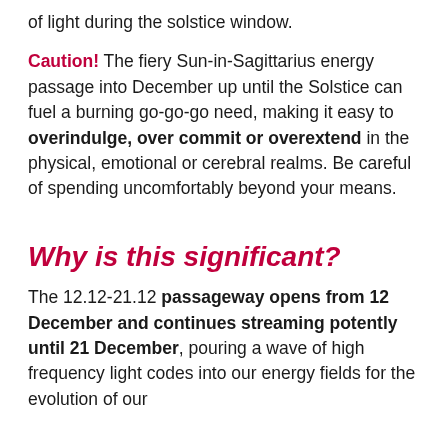of light during the solstice window.
Caution! The fiery Sun-in-Sagittarius energy passage into December up until the Solstice can fuel a burning go-go-go need, making it easy to overindulge, over commit or overextend in the physical, emotional or cerebral realms. Be careful of spending uncomfortably beyond your means.
Why is this significant?
The 12.12-21.12 passageway opens from 12 December and continues streaming potently until 21 December, pouring a wave of high frequency light codes into our energy fields for the evolution of our